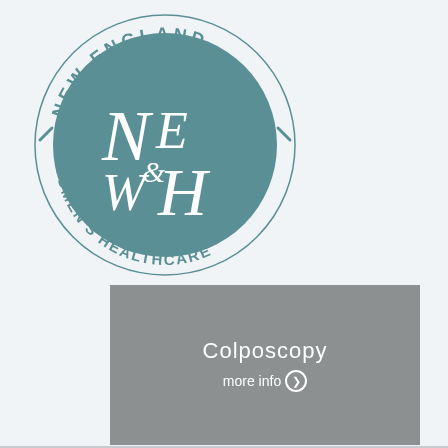[Figure (logo): New England Women's Healthcare circular logo with teal background and stylized NE/WH monogram initials in the center, surrounded by text 'NEW ENGLAND' at top and 'WOMEN'S HEALTHCARE' at bottom]
Colposcopy
more info ❯